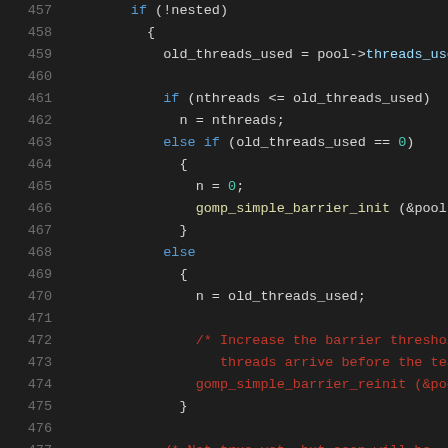Code listing lines 457-478, C source code with syntax highlighting showing thread pool barrier management logic